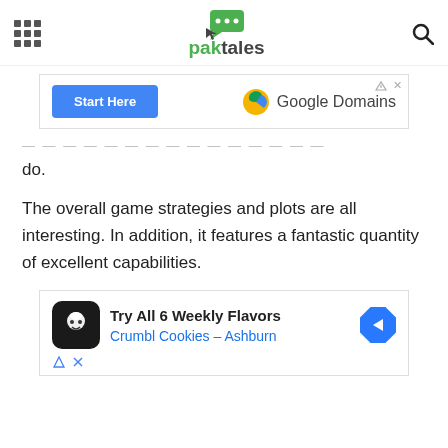paktales navigation header with grid menu icon, paktales logo, and search icon
[Figure (screenshot): Google Domains advertisement banner with 'Start Here' button and Google Domains logo]
do.
The overall game strategies and plots are all interesting. In addition, it features a fantastic quantity of excellent capabilities.
[Figure (screenshot): Crumbl Cookies advertisement: Try All 6 Weekly Flavors - Crumbl Cookies - Ashburn, with cookie chef logo and directional arrow icon]